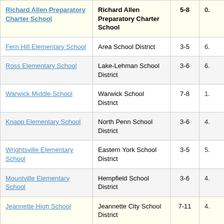| School | District | Grades |  |
| --- | --- | --- | --- |
| Richard Allen Preparatory Charter School | Richard Allen Preparatory Charter School | 5-8 | 0. |
| Fern Hill Elementary School | Area School District | 3-5 | 6. |
| Ross Elementary School | Lake-Lehman School District | 3-6 | 6. |
| Warwick Middle School | Warwick School District | 7-8 | 1. |
| Knapp Elementary School | North Penn School District | 3-6 | 4. |
| Wrightsville Elementary School | Eastern York School District | 3-5 | 5. |
| Mountville Elementary School | Hempfield School District | 3-6 | 4. |
| Jeannette High School | Jeannette City School District | 7-11 | 4. |